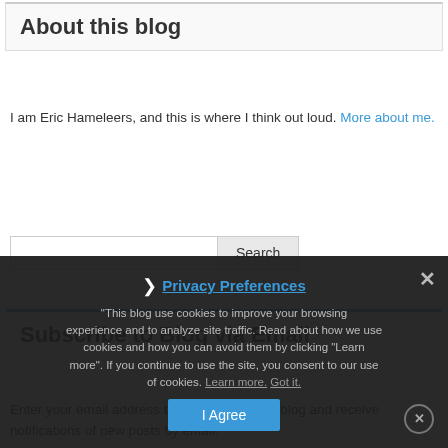About this blog
I am Eric Hameleers, and this is where I think out loud. More about me.
Search
Subscribe to Blog via Email
Enter your email address to subscribe to this blog and receive notifications of new posts by email.
Privacy Preferences
This blog use cookies to improve your browsing experience and to analyze site traffic. Read about how we use cookies and how you can avoid them by clicking "Learn more". If you continue to use the site, you consent to our use of cookies. Learn more. Got it.